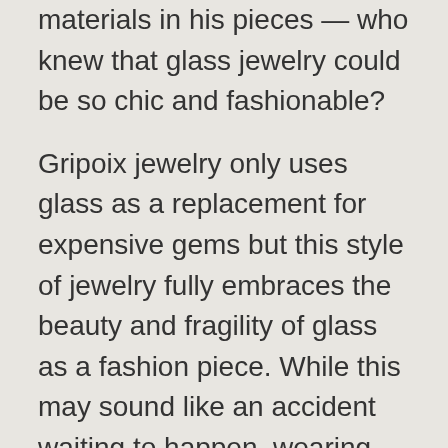materials in his pieces — who knew that glass jewelry could be so chic and fashionable?
Gripoix jewelry only uses glass as a replacement for expensive gems but this style of jewelry fully embraces the beauty and fragility of glass as a fashion piece. While this may sound like an accident waiting to happen, wearing full glass jewelry is something that every lady should experience once in a while.
Just think about it, a string of glass bead drops around your neck would just give the perfect delicate touch to your outfit. Many jewelry designers mix glass jewelry with other materials like faux pearls to add dimension and variety to the style. This costume jewelry idea will surely make your heart melt! We noticed many this costume jewelry designs in famous jewelry shops such as Mejuri, JewelryBund, Zales and